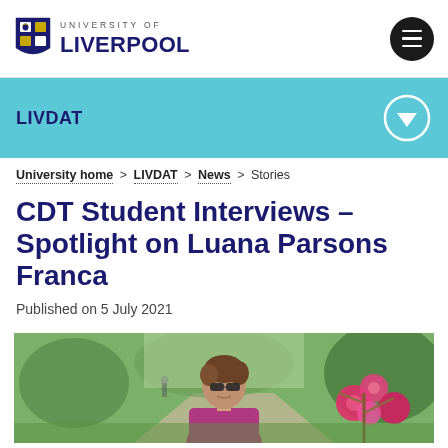[Figure (logo): University of Liverpool logo with shield and text]
LIVDAT
University home > LIVDAT > News > Stories
CDT Student Interviews – Spotlight on Luana Parsons Franca
Published on 5 July 2021
[Figure (photo): Woman with sunglasses smiling near pink flowers in a park setting]